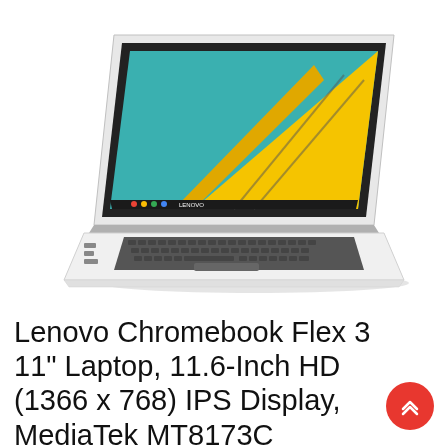[Figure (photo): Lenovo Chromebook Flex 3 laptop open at an angle showing a teal and yellow geometric wallpaper on screen, white body with dark keyboard, viewed from the front-left side]
Lenovo Chromebook Flex 3 11" Laptop, 11.6-Inch HD (1366 x 768) IPS Display, MediaTek MT8173C Processor, 4GB LPDDR3, 64 GB